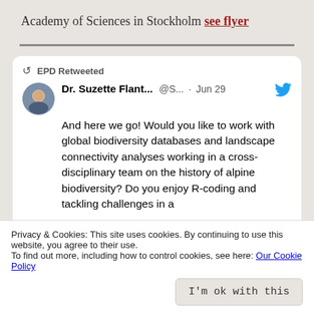Academy of Sciences in Stockholm see flyer
[Figure (screenshot): Embedded tweet from Dr. Suzette Flant... @S... Jun 29, retweeted by EPD. Tweet text: And here we go! Would you like to work with global biodiversity databases and landscape connectivity analyses working in a cross-disciplinary team on the history of alpine biodiversity? Do you enjoy R-coding and tackling challenges in a]
Privacy & Cookies: This site uses cookies. By continuing to use this website, you agree to their use.
To find out more, including how to control cookies, see here: Our Cookie Policy
I'm ok with this